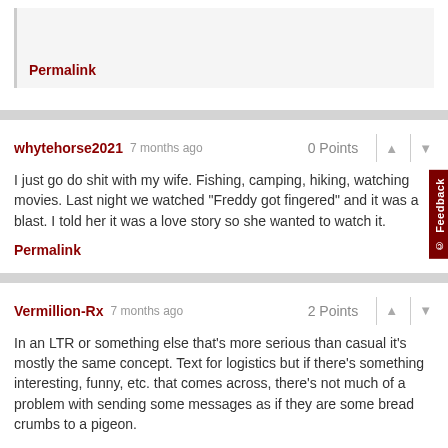Permalink
whytehorse2021 7 months ago 0 Points
I just go do shit with my wife. Fishing, camping, hiking, watching movies. Last night we watched "Freddy got fingered" and it was a blast. I told her it was a love story so she wanted to watch it.
Permalink
Vermillion-Rx 7 months ago 2 Points
In an LTR or something else that's more serious than casual it's mostly the same concept. Text for logistics but if there's something interesting, funny, etc. that comes across, there's not much of a problem with sending some messages as if they are some bread crumbs to a pigeon.
You just don't want it to devolve to the point where you are